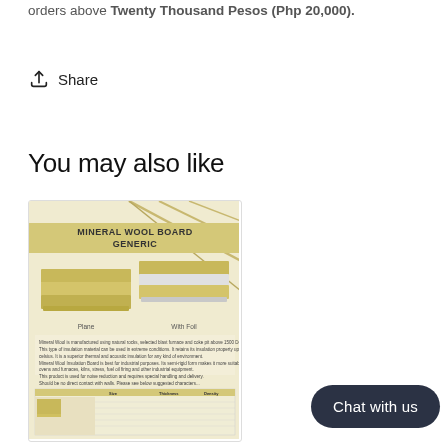orders above Twenty Thousand Pesos (Php 20,000).
Share
You may also like
[Figure (photo): Product image for Mineral Wool Board Generic showing insulation boards plain and with foil, along with product description text and a data table.]
Chat with us